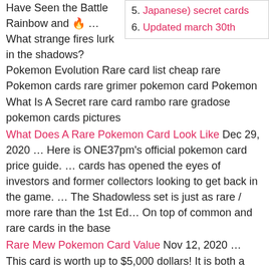Have Seen the Battle Rainbow and 🔥 … What strange fires lurk in the shadows? Pokemon Evolution Rare card list cheap rare Pokemon cards rare grimer pokemon card Pokemon What Is A Secret rare card rambo rare gradose pokemon cards pictures
5. Japanese) secret cards
6. Updated march 30th
What Does A Rare Pokemon Card Look Like Dec 29, 2020 … Here is ONE37pm's official pokemon card price guide. … cards has opened the eyes of investors and former collectors looking to get back in the game. … The Shadowless set is just as rare / more rare than the 1st Ed… On top of common and rare cards in the base
Rare Mew Pokemon Card Value Nov 12, 2020 … This card is worth up to $5,000 dollars! It is both a first edition and has a shadowless error, both things that make cards extremely valuable! Of … Mar 30, 2021 … 25 Holo Gold Star Rayquaza: $4500 · 24 Tropical Mega Battle: $10,000 · 23 Ancient Mew: $25 · 22 Holographic